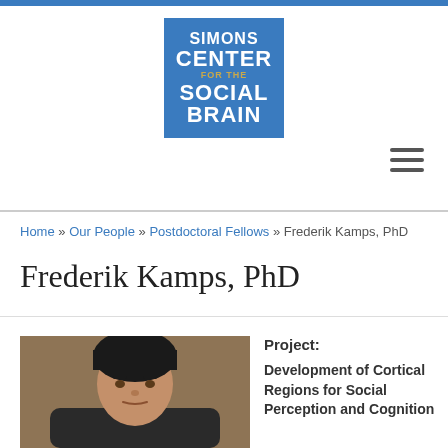[Figure (logo): Simons Center for the Social Brain logo — blue square with white text]
Home » Our People » Postdoctoral Fellows » Frederik Kamps, PhD
Frederik Kamps, PhD
[Figure (photo): Headshot photo of Frederik Kamps, a man with dark hair against a tan/brown background]
Project:
Development of Cortical Regions for Social Perception and Cognition